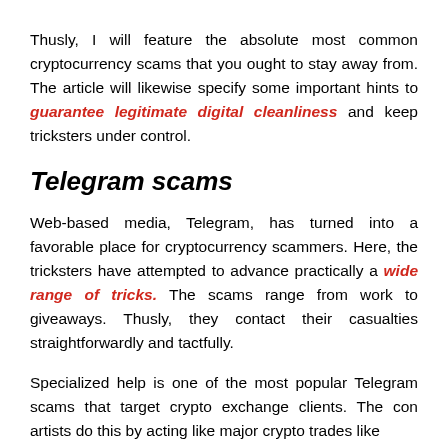Thusly, I will feature the absolute most common cryptocurrency scams that you ought to stay away from. The article will likewise specify some important hints to guarantee legitimate digital cleanliness and keep tricksters under control.
Telegram scams
Web-based media, Telegram, has turned into a favorable place for cryptocurrency scammers. Here, the tricksters have attempted to advance practically a wide range of tricks. The scams range from work to giveaways. Thusly, they contact their casualties straightforwardly and tactfully.
Specialized help is one of the most popular Telegram scams that target crypto exchange clients. The con artists do this by acting like major crypto trades like